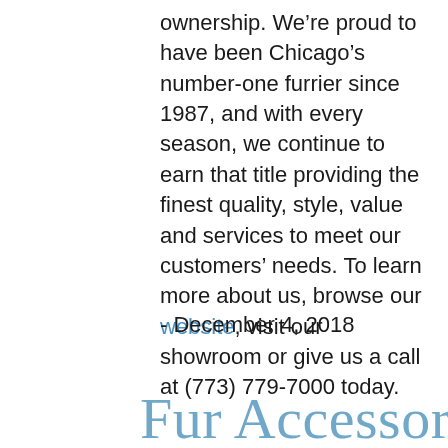ownership. We're proud to have been Chicago's number-one furrier since 1987, and with every season, we continue to earn that title providing the finest quality, style, value and services to meet our customers' needs. To learn more about us, browse our website, visit our showroom or give us a call at (773) 779-7000 today.
- December 4, 2018
Fur Accessories